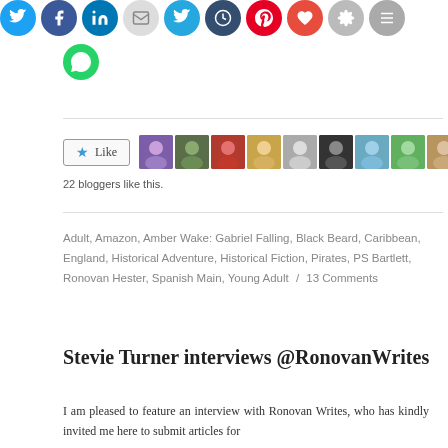[Figure (other): Social media sharing icon buttons (Twitter, Facebook, LinkedIn, email, and others) shown as colored circles at top of page]
[Figure (other): WhatsApp sharing icon button shown as green circle]
[Figure (other): Like button with star icon and a row of 9 blogger profile photo avatars]
22 bloggers like this.
Adult, Amazon, Amber Wake: Gabriel Falling, Black Beard, Caribbean, England, Historical Adventure, Historical Fiction, Pirates, PS Bartlett, Ronovan Hester, Spanish Main, Young Adult / 13 Comments
Stevie Turner interviews @RonovanWrites
I am pleased to feature an interview with Ronovan Writes, who has kindly invited me here to submit articles for